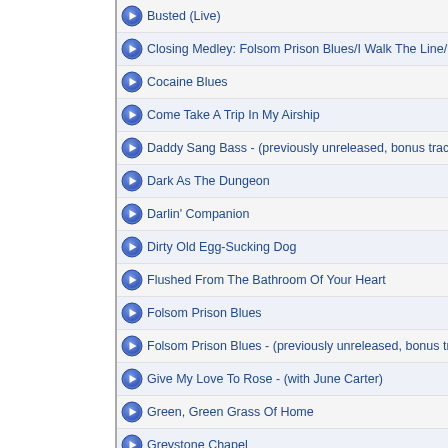Busted (Live)
Closing Medley: Folsom Prison Blues/I Walk The Line/Ri...
Cocaine Blues
Come Take A Trip In My Airship
Daddy Sang Bass - (previously unreleased, bonus track)
Dark As The Dungeon
Darlin' Companion
Dirty Old Egg-Sucking Dog
Flushed From The Bathroom Of Your Heart
Folsom Prison Blues
Folsom Prison Blues - (previously unreleased, bonus trac...
Give My Love To Rose - (with June Carter)
Green, Green Grass Of Home
Greystone Chapel
He Turned The Water Into Wine - (previously unreleased...
I Don't Know Where I'm Bound - (previously unreleased,...
I Got Stripes
I Still Miss Someone
I Still Miss Someone - (previously unreleased, bonus trac...